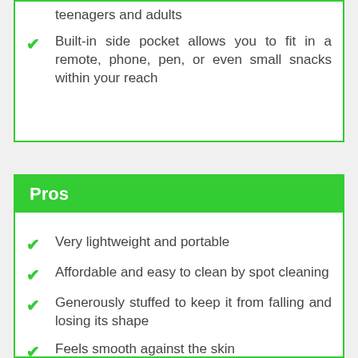teenagers and adults
Built-in side pocket allows you to fit in a remote, phone, pen, or even small snacks within your reach
Pros
Very lightweight and portable
Affordable and easy to clean by spot cleaning
Generously stuffed to keep it from falling and losing its shape
Feels smooth against the skin